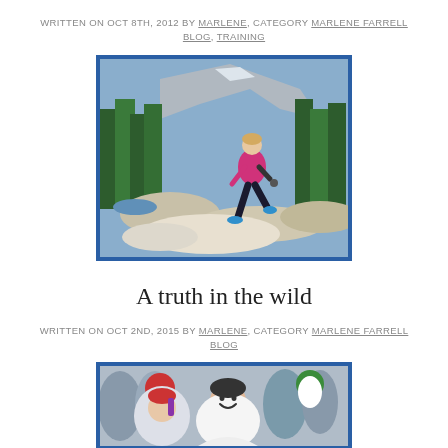WRITTEN ON OCT 8TH, 2012 BY MARLENE, CATEGORY MARLENE FARRELL BLOG, TRAINING
[Figure (photo): Woman in pink athletic top running on rocky terrain with trees and mountain in background, blue border]
A truth in the wild
WRITTEN ON OCT 2ND, 2015 BY MARLENE, CATEGORY MARLENE FARRELL BLOG
[Figure (photo): Group of people smiling at outdoor event wearing winter hats and jackets, partial view, blue border]